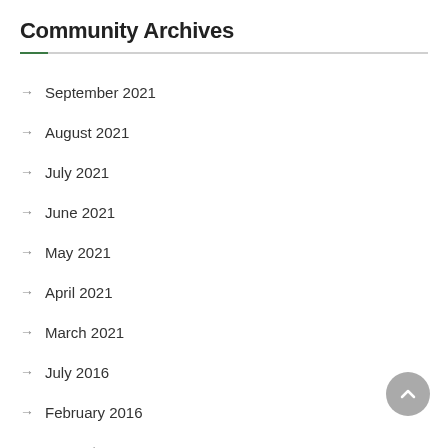Community Archives
→  September 2021
→  August 2021
→  July 2021
→  June 2021
→  May 2021
→  April 2021
→  March 2021
→  July 2016
→  February 2016
→  December 2015